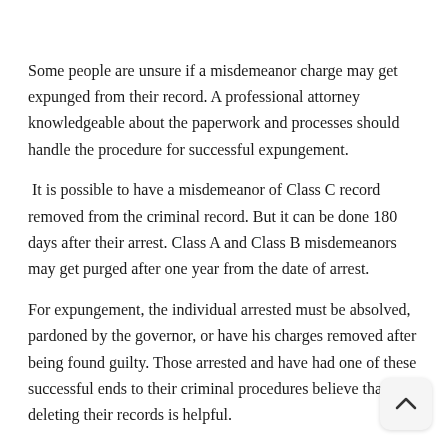Some people are unsure if a misdemeanor charge may get expunged from their record. A professional attorney knowledgeable about the paperwork and processes should handle the procedure for successful expungement.
It is possible to have a misdemeanor of Class C record removed from the criminal record. But it can be done 180 days after their arrest. Class A and Class B misdemeanors may get purged after one year from the date of arrest.
For expungement, the individual arrested must be absolved, pardoned by the governor, or have his charges removed after being found guilty. Those arrested and have had one of these successful ends to their criminal procedures believe that deleting their records is helpful.
Even if juveniles are found guilty of a crime, they are arrested and may seek to have their records expunged if they reach the age of 18. If an adult has been convicted, they